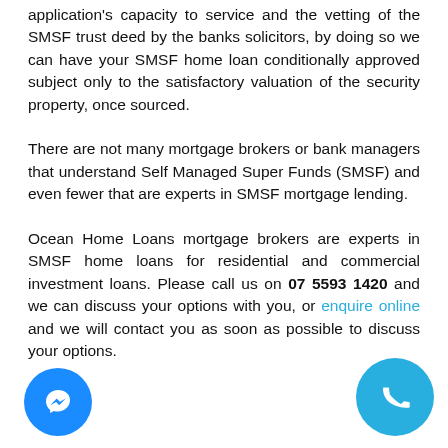application's capacity to service and the vetting of the SMSF trust deed by the banks solicitors, by doing so we can have your SMSF home loan conditionally approved subject only to the satisfactory valuation of the security property, once sourced.
There are not many mortgage brokers or bank managers that understand Self Managed Super Funds (SMSF) and even fewer that are experts in SMSF mortgage lending.
Ocean Home Loans mortgage brokers are experts in SMSF home loans for residential and commercial investment loans. Please call us on 07 5593 1420 and we can discuss your options with you, or enquire online and we will contact you as soon as possible to discuss your options.